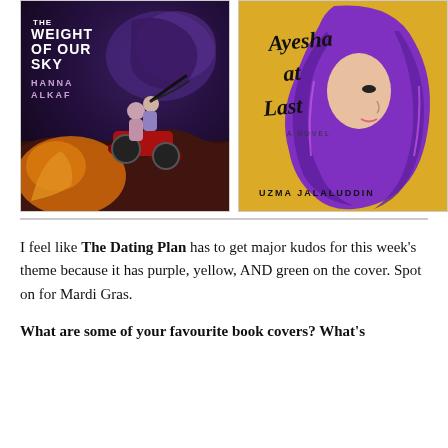[Figure (illustration): Book cover: 'The Weight of Our Sky' by Hanna Alkaf. Illustrated cover showing two figures on a motorcycle against a dark stormy sky with fire below.]
[Figure (illustration): Book cover: 'Ayesha at Last' by Uzma Jalaluddin. Yellow cover with profile of woman in purple hijab, handwritten-style title text.]
I feel like The Dating Plan has to get major kudos for this week's theme because it has purple, yellow, AND green on the cover. Spot on for Mardi Gras.
What are some of your favourite book covers? What's